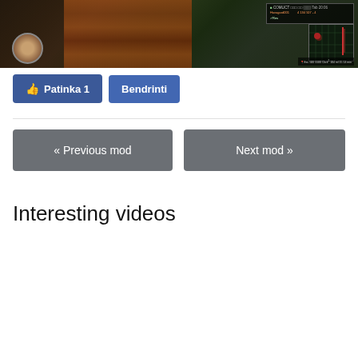[Figure (screenshot): Video game screenshot showing a wooden structure, character avatar in bottom left, HUD with minimap and stats in top right corner. Game appears to be a medieval/fantasy RPG.]
[Figure (screenshot): Facebook-style Like button showing 'Patinka 1' and a Share/Bendrinti button in blue.]
« Previous mod
Next mod »
Interesting videos